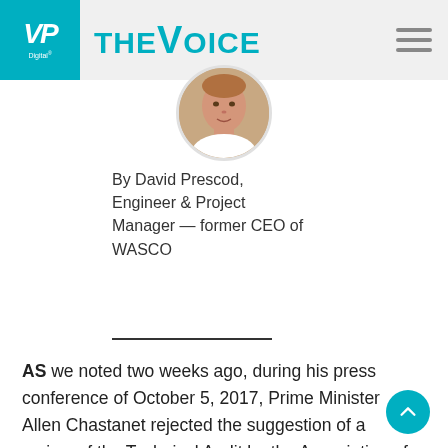VP Digital — The Voice
[Figure (photo): Circular cropped portrait photo of David Prescod]
By David Prescod, Engineer & Project Manager — former CEO of WASCO
AS we noted two weeks ago, during his press conference of October 5, 2017, Prime Minister Allen Chastanet rejected the suggestion of a review of the Technical Audit by the Association of Professional Engineers of St. Lucia.